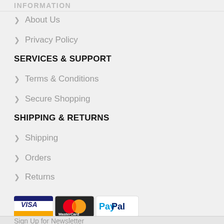INFORMATION
About Us
Privacy Policy
SERVICES & SUPPORT
Terms & Conditions
Secure Shopping
SHIPPING & RETURNS
Shipping
Orders
Returns
[Figure (logo): Payment logos: Visa, MasterCard, PayPal]
Sign Up for Newsletter